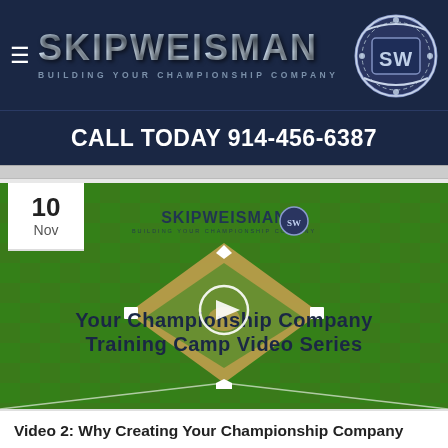SKIP WEISMAN — BUILDING YOUR CHAMPIONSHIP COMPANY
CALL TODAY 914-456-6387
[Figure (screenshot): Video thumbnail showing baseball diamond on green field background with SkipWeisman logo and text 'Your Championship Company Training Camp Video Series' with play button overlay. Date badge shows 10 Nov.]
Video 2: Why Creating Your Championship Company